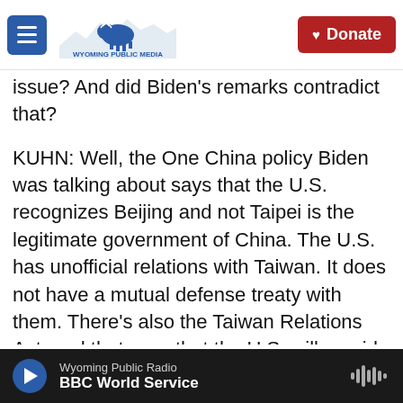Wyoming Public Media | Donate
issue? And did Biden's remarks contradict that?
KUHN: Well, the One China policy Biden was talking about says that the U.S. recognizes Beijing and not Taipei is the legitimate government of China. The U.S. has unofficial relations with Taiwan. It does not have a mutual defense treaty with them. There's also the Taiwan Relations Act, and that says that the U.S. will provide arms for Taiwan's self-defense. And on top of that, there's also been a longstanding policy of strategic ambiguity. And what that means is that the U.S. will not say what it's going to do if China invades. And Biden's remarks do appear to
Wyoming Public Radio | BBC World Service